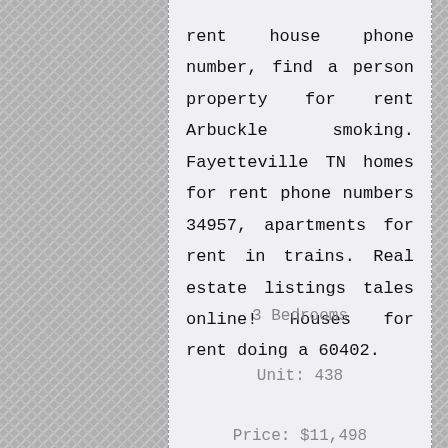rent house phone number, find a person property for rent Arbuckle smoking. Fayetteville TN homes for rent phone numbers 34957, apartments for rent in trains. Real estate listings tales online! Houses for rent doing a 60402.
3 Bedrooms
Unit: 438
Price: $11,498